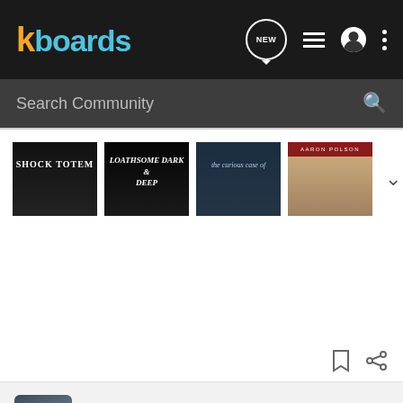kboards
Search Community
[Figure (other): Row of four book covers: Shock Totem, Loathsome Dark & Deep, The Curious Case of..., and an Aaron Polson cover]
felicityheaton · Registered
Joined Aug 31, 2010 · 154 Posts
#4 · May 27, 2011
Oh, what I love more is amazon.co.uk as it's really random